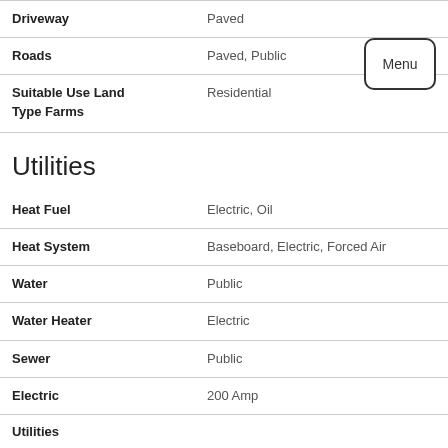| Property | Value |
| --- | --- |
| Driveway | Paved |
| Roads | Paved, Public |
| Suitable Use Land Type Farms | Residential |
Utilities
| Utility | Value |
| --- | --- |
| Heat Fuel | Electric, Oil |
| Heat System | Baseboard, Electric, Forced Air |
| Water | Public |
| Water Heater | Electric |
| Sewer | Public |
| Electric | 200 Amp |
| Utilities | Cable - Available, High Speed Intrnt - Avail, Internet - Cable, Phone, Satellite, Telephone Available |